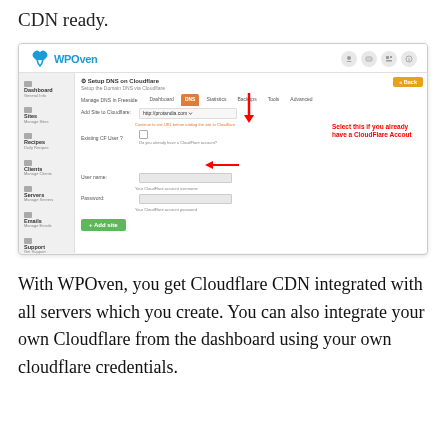CDN ready.
[Figure (screenshot): WPOven dashboard screenshot showing Cloudflare DNS setup page with annotation arrow pointing to 'Existing CF User?' checkbox saying 'Select this if you already have a CloudFlare Accout']
With WPOven, you get Cloudflare CDN integrated with all servers which you create. You can also integrate your own Cloudflare from the dashboard using your own cloudflare credentials.